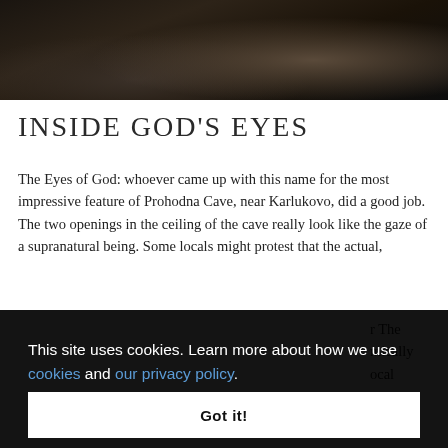[Figure (photo): Dark panoramic photo of Prohodna Cave interior, showing rocky cave walls and ceiling with people visible in the cave. The image is dark with warm brown and black tones.]
INSIDE GOD'S EYES
The Eyes of God: whoever came up with this name for the most impressive feature of Prohodna Cave, near Karlukovo, did a good job. The two openings in the ceiling of the cave really look like the gaze of a supranatural being. Some locals might protest that the actual,
r The
mically
ocal
This site uses cookies. Learn more about how we use cookies and our privacy policy.

Got it!